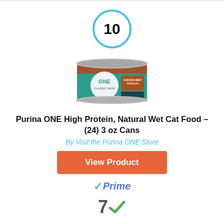[Figure (other): Rank badge showing number 10 inside a blue circle]
[Figure (photo): Purina ONE cat food can product image]
Purina ONE High Protein, Natural Wet Cat Food – (24) 3 oz Cans
By Visit the Purina ONE Store
View Product
[Figure (logo): Amazon Prime logo with checkmark]
[Figure (other): Number 7 with green checkmark badge]